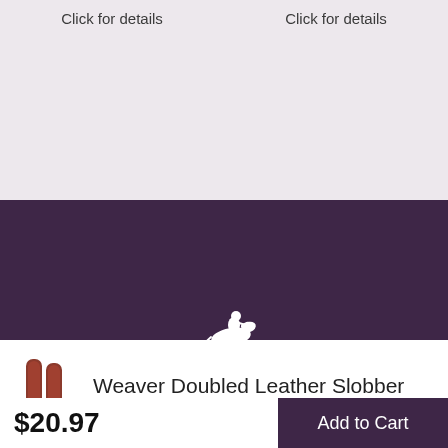Click for details
Click for details
[Figure (logo): Adams equestrian store logo with horse and rider illustration and 'Adams' text]
119 Bolton Court
Aiken, SC 29803
[Figure (photo): Brown leather slobber straps product image]
Weaver Doubled Leather Slobber Straps
$20.97
Add to Cart